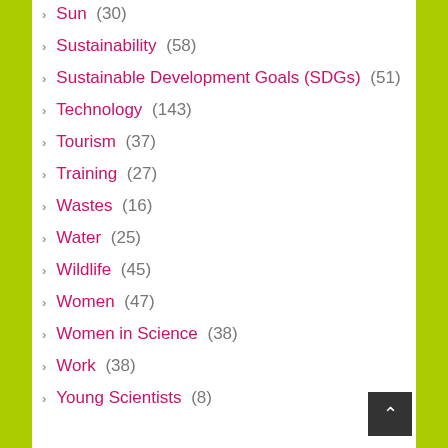Sun (30)
Sustainability (58)
Sustainable Development Goals (SDGs) (51)
Technology (143)
Tourism (37)
Training (27)
Wastes (16)
Water (25)
Wildlife (45)
Women (47)
Women in Science (38)
Work (38)
Young Scientists (8)